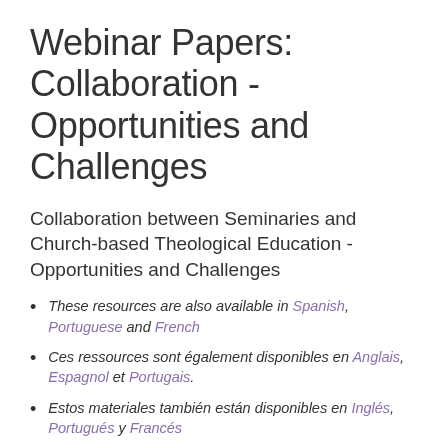Webinar Papers: Collaboration - Opportunities and Challenges
Collaboration between Seminaries and Church-based Theological Education - Opportunities and Challenges
These resources are also available in Spanish, Portuguese and French
Ces ressources sont également disponibles en Anglais, Espagnol et Portugais.
Estos materiales también están disponibles en Inglés, Portugués y Francés
Estes materiais estão também disponíveis em Inglês,